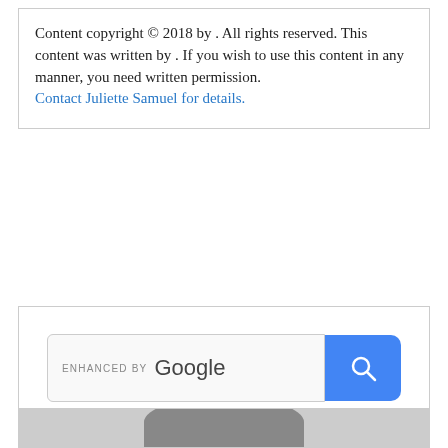Content copyright © 2018 by . All rights reserved. This content was written by . If you wish to use this content in any manner, you need written permission. Contact Juliette Samuel for details.
[Figure (screenshot): Google enhanced search bar with blue search button containing magnifying glass icon]
Privacy & Cookies: This site uses cookies. By continuing to use this website, you agree to their use.
To find out more, including how to control cookies, see here: Cookie Policy
Close and accept